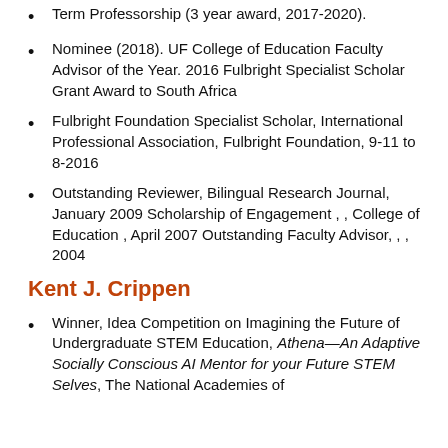Term Professorship (3 year award, 2017-2020).
Nominee (2018). UF College of Education Faculty Advisor of the Year. 2016 Fulbright Specialist Scholar Grant Award to South Africa
Fulbright Foundation Specialist Scholar, International Professional Association, Fulbright Foundation, 9-11 to 8-2016
Outstanding Reviewer, Bilingual Research Journal, January 2009 Scholarship of Engagement , , College of Education , April 2007 Outstanding Faculty Advisor, , , 2004
Kent J. Crippen
Winner, Idea Competition on Imagining the Future of Undergraduate STEM Education, Athena—An Adaptive Socially Conscious AI Mentor for your Future STEM Selves, The National Academies of